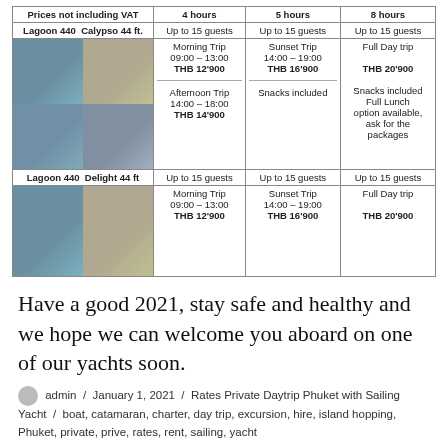| Prices not including VAT | 4 hours | 5 hours | 8 hours |
| --- | --- | --- | --- |
| Lagoon 440  Calypso 44 ft. | Up to 15 guests | Up to 15 guests | Up to 15 guests |
| [images] | Morning Trip
09:00 – 13:00
THB 12'900

Afternoon Trip
14:00 – 18:00
THB 14'900 | Sunset Trip
14:00 – 19:00
THB 16'900

Snacks included | Full Day trip

THB 20'900

Snacks included
Full Lunch option available, ask for the packages |
| Lagoon 440  Delight 44 ft | Up to 15 guests | Up to 15 guests | Up to 15 guests |
| [images] | Morning Trip
09:00 – 13:00
THB 12'900 | Sunset Trip
14:00 – 19:00
THB 16'900 | Full Day trip

THB 20'900 |
Have a good 2021, stay safe and healthy and we hope we can welcome you aboard on one of our yachts soon.
admin / January 1, 2021 / Rates Private Daytrip Phuket with Sailing Yacht / boat, catamaran, charter, day trip, excursion, hire, island hopping, Phuket, private, prive, rates, rent, sailing, yacht